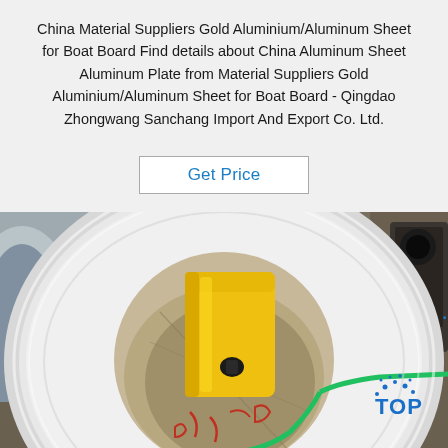China Material Suppliers Gold Aluminium/Aluminum Sheet for Boat Board Find details about China Aluminum Sheet Aluminum Plate from Material Suppliers Gold Aluminium/Aluminum Sheet for Boat Board - Qingdao Zhongwang Sanchang Import And Export Co. Ltd.
[Figure (other): Button/link labeled 'Get Price' with a rectangular border outline]
[Figure (photo): Photo of a large white aluminum coil roll with a yellow protective insert in its hollow core, green strap, and industrial background. A 'TOP' watermark logo is visible in the bottom-right corner.]